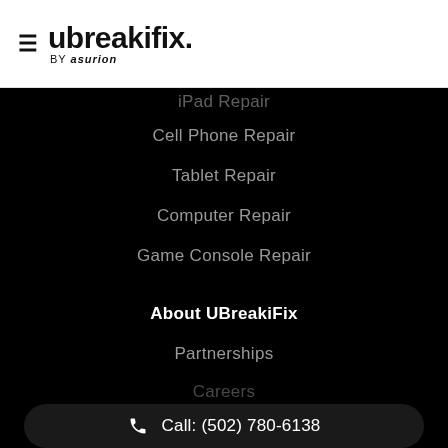[Figure (logo): ubreakifix by asurion logo with hamburger menu icon]
iPad Repair
Cell Phone Repair
Tablet Repair
Computer Repair
Game Console Repair
About UBreakiFix
Partnerships
Careers
Call: (502) 780-6138